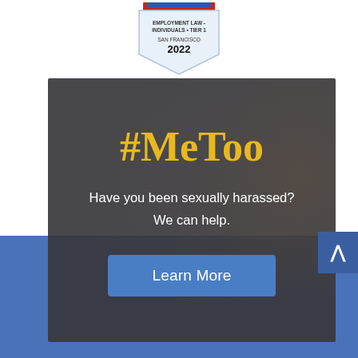[Figure (logo): Badge/award logo: Employment Law - Individuals Tier 1, San Francisco 2022, with red and blue banner at top and shield shape]
[Figure (illustration): Dark overlay card with #MeToo headline in gold, text 'Have you been sexually harassed? We can help.' and a blue Learn More button, set against a dark background with a subtle hand/figure image. Background is a blue band. A scroll-to-top button appears at right.]
#MeToo
Have you been sexually harassed? We can help.
Learn More